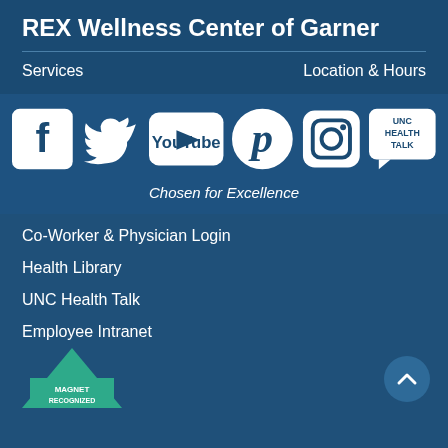REX Wellness Center of Garner
Services
Location & Hours
[Figure (infographic): Row of social media icons: Facebook, Twitter, YouTube, Pinterest, Instagram, UNC Health Talk]
Chosen for Excellence
Co-Worker & Physician Login
Health Library
UNC Health Talk
Employee Intranet
[Figure (logo): Magnet Recognized badge - green triangular logo with text MAGNET RECOGNIZED]